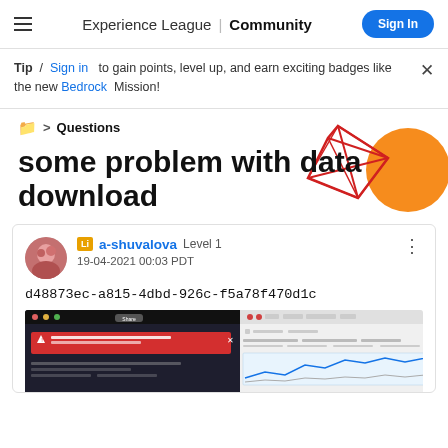Experience League | Community  Sign In
Tip / Sign in to gain points, level up, and earn exciting badges like the new Bedrock Mission!
> Questions
some problem with data download
a-shuvalova  Level 1
19-04-2021 00:03 PDT
d48873ec-a815-4dbd-926c-f5a78f470d1c
[Figure (screenshot): Screenshot of a browser showing an error in Adobe Experience League, with a red error bar on the left panel and network/chart data on the right panel.]